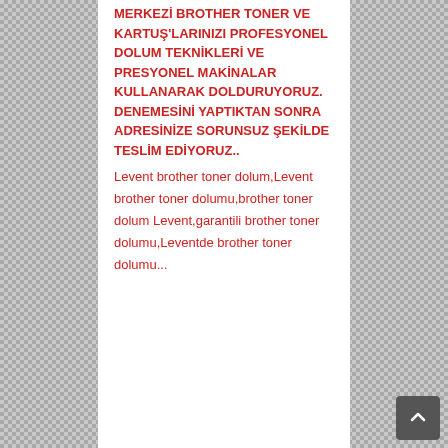MERKEZİ BROTHER TONER VE KARTUŞ'LARINIZI PROFESYONEL DOLUM TEKNİKLERİ VE PRESYONEL MAKİNALAR KULLANARAK DOLDURUYORUZ. DENEMESİNİ YAPTIKTAN SONRA ADRESİNİZE SORUNSUZ ŞEKİLDE TESLİM EDİYORUZ..
Levent brother toner dolum,Levent brother toner dolumu,brother toner dolum Levent,garantili brother toner dolumu,Leventde brother toner dolumu...